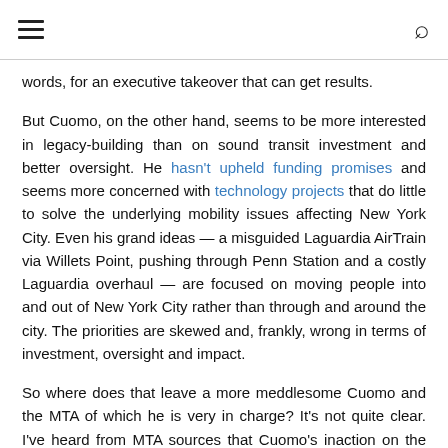[hamburger menu] [search icon]
words, for an executive takeover that can get results.
But Cuomo, on the other hand, seems to be more interested in legacy-building than on sound transit investment and better oversight. He hasn't upheld funding promises and seems more concerned with technology projects that do little to solve the underlying mobility issues affecting New York City. Even his grand ideas — a misguided Laguardia AirTrain via Willets Point, pushing through Penn Station and a costly Laguardia overhaul — are focused on moving people into and out of New York City rather than through and around the city. The priorities are skewed and, frankly, wrong in terms of investment, oversight and impact.
So where does that leave a more meddlesome Cuomo and the MTA of which he is very in charge? It's not quite clear. I've heard from MTA sources that Cuomo's inaction on the capital plan had a